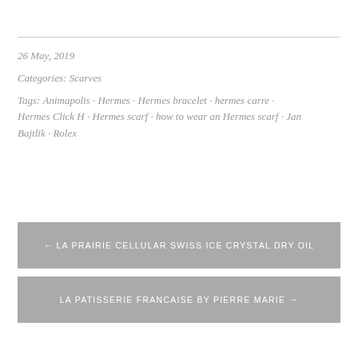26 May, 2019
Categories: Scarves
Tags: Animapolis · Hermes · Hermes bracelet · hermes carre · Hermes Click H · Hermes scarf · how to wear an Hermes scarf · Jan Bajtlik · Rolex
← LA PRAIRIE CELLULAR SWISS ICE CRYSTAL DRY OIL
LA PATISSERIE FRANCAISE BY PIERRE MARIE →